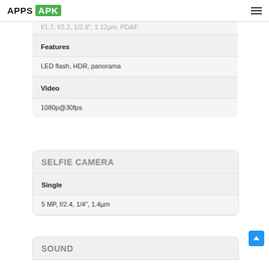APPS APK
f/1.7, f/2.2, 1/2.8", 1.12µm, PDAF
Features
LED flash, HDR, panorama
Video
1080p@30fps
SELFIE CAMERA
Single
5 MP, f/2.4, 1/4", 1.4µm
SOUND